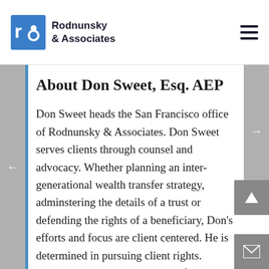Rodnunsky & Associates
About Don Sweet, Esq. AEP
Don Sweet heads the San Francisco office of Rodnunsky & Associates. Don Sweet serves clients through counsel and advocacy. Whether planning an inter-generational wealth transfer strategy, adminstering the details of a trust or defending the rights of a beneficiary, Don's efforts and focus are client centered. He is determined in pursuing client rights. Understanding the importance of value in professional service relationships, Mr. Sweet delivers creative, realistic and cost-effective solutions. With a deep and varied planning background, he works with those who seek protection of family and wealth in